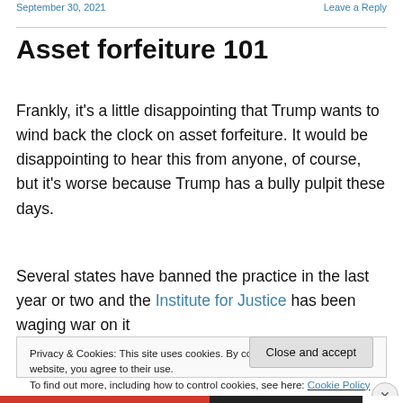September 30, 2021   Leave a Reply
Asset forfeiture 101
Frankly, it's a little disappointing that Trump wants to wind back the clock on asset forfeiture. It would be disappointing to hear this from anyone, of course, but it's worse because Trump has a bully pulpit these days.
Several states have banned the practice in the last year or two and the Institute for Justice has been waging war on it
Privacy & Cookies: This site uses cookies. By continuing to use this website, you agree to their use.
To find out more, including how to control cookies, see here: Cookie Policy
Close and accept